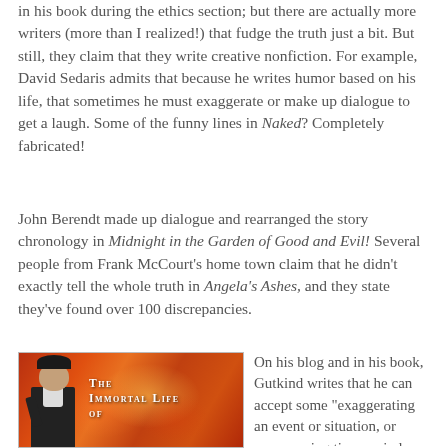in his book during the ethics section; but there are actually more writers (more than I realized!) that fudge the truth just a bit. But still, they claim that they write creative nonfiction. For example, David Sedaris admits that because he writes humor based on his life, that sometimes he must exaggerate or make up dialogue to get a laugh. Some of the funny lines in Naked? Completely fabricated!
John Berendt made up dialogue and rearranged the story chronology in Midnight in the Garden of Good and Evil! Several people from Frank McCourt's home town claim that he didn't exactly tell the whole truth in Angela's Ashes, and they state they've found over 100 discrepancies.
[Figure (illustration): Book cover of 'The Immortal Life of' showing a person standing against an orange/red flame-like background with cell imagery]
On his blog and in his book, Gutkind writes that he can accept some "exaggerating an event or situation, or compressing time periods, or creating composite characters" and that it "may possibly help a nonfiction